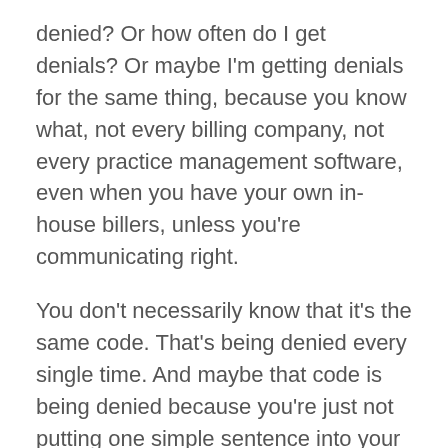denied? Or how often do I get denials? Or maybe I'm getting denials for the same thing, because you know what, not every billing company, not every practice management software, even when you have your own in-house billers, unless you're communicating right.
You don't necessarily know that it's the same code. That's being denied every single time. And maybe that code is being denied because you're just not putting one simple sentence into your note for medical necessity. I mean, sometimes it's, it's an easy fix. I mean, I hear all the time. Oh my God. I'm so bogged down with denials.
Okay. This is, I'm going to call BS because there's no